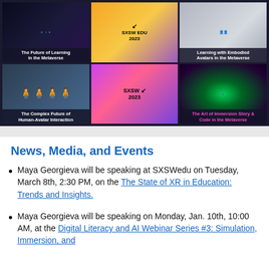[Figure (photo): Grid of 6 thumbnail images related to metaverse and SXSW EDU 2023 events: 'The Future of Learning in the Metaverse', 'SXSW EDU 2023', 'Learning with Embodied Avatars in the Metaverse', 'The Complex Future of Human-Avatar Interaction', 'SXSW 2023', 'The Art of Immersion Story & Code in the Metaverse']
News, Media, and Events
Maya Georgieva will be speaking at SXSWedu on Tuesday, March 8th, 2:30 PM, on the The State of XR in Education: Trends and Insights.
Maya Georgieva will be speaking on Monday, Jan. 10th, 10:00 AM, at the Digital Literacy and AI Webinar Series #3: Simulation, Immersion, and